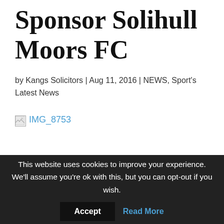Sponsor Solihull Moors FC
by Kangs Solicitors | Aug 11, 2016 | NEWS, Sport's Latest News
[Figure (photo): Broken image placeholder with link text IMG_8753]
This website uses cookies to improve your experience. We'll assume you're ok with this, but you can opt-out if you wish.
Accept   Read More